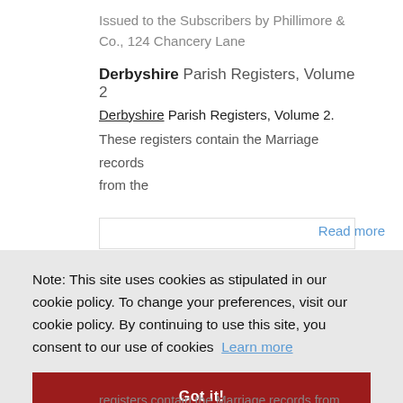Issued to the Subscribers by Phillimore & Co., 124 Chancery Lane
Derbyshire Parish Registers, Volume 2
Derbyshire Parish Registers, Volume 2. These registers contain the Marriage records from the
Read more
Note: This site uses cookies as stipulated in our cookie policy. To change your preferences, visit our cookie policy. By continuing to use this site, you consent to our use of cookies  Learn more
Got it!
registers contain the Marriage records from